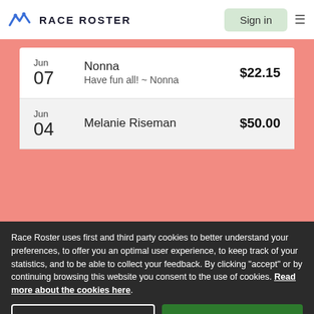RACE ROSTER | Sign in
| Date | Donor | Amount |
| --- | --- | --- |
| Jun 07 | Nonna
Have fun all! ~ Nonna | $22.15 |
| Jun 04 | Melanie Riseman | $50.00 |
© 2022 Race Roster. All rights reserved.
Race Roster uses first and third party cookies to better understand your preferences, to offer you an optimal user experience, to keep track of your statistics, and to be able to collect your feedback. By clicking "accept" or by continuing browsing this website you consent to the use of cookies. Read more about the cookies here.
COOKIE SETTINGS | ACCEPT